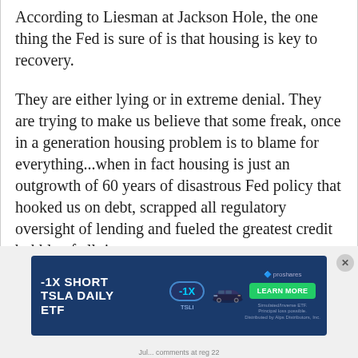According to Liesman at Jackson Hole, the one thing the Fed is sure of is that housing is key to recovery.
They are either lying or in extreme denial. They are trying to make us believe that some freak, once in a generation housing problem is to blame for everything...when in fact housing is just an outgrowth of 60 years of disastrous Fed policy that hooked us on debt, scrapped all regulatory oversight of lending and fueled the greatest credit bubble of all time.
[Figure (other): Advertisement banner for -1X Short TSLA Daily ETF (TSLI) by ProShares, with dark blue background, showing a Tesla car image, a Learn More button, and disclaimer text.]
Jul... comments at reg 22